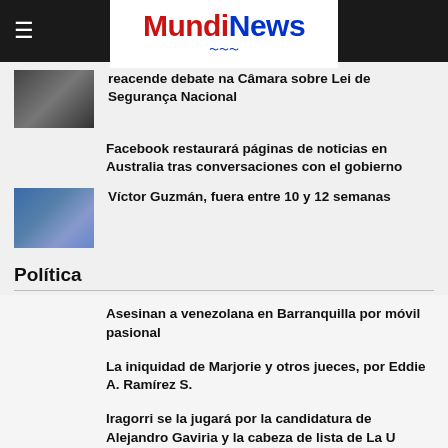MundiNews
reacende debate na Câmara sobre Lei de Segurança Nacional
Facebook restaurará páginas de noticias en Australia tras conversaciones con el gobierno
Víctor Guzmán, fuera entre 10 y 12 semanas
Política
Asesinan a venezolana en Barranquilla por móvil pasional
La iniquidad de Marjorie y otros jueces, por Eddie A. Ramírez S.
Iragorri se la jugará por la candidatura de Alejandro Gaviria y la cabeza de lista de La U